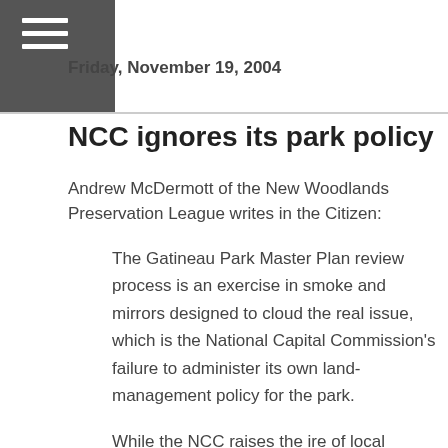Friday, November 19, 2004
NCC ignores its park policy
Andrew McDermott of the New Woodlands Preservation League writes in the Citizen:
The Gatineau Park Master Plan review process is an exercise in smoke and mirrors designed to cloud the real issue, which is the National Capital Commission's failure to administer its own land- management policy for the park.
While the NCC raises the ire of local citizens by talking about restricting access to Gatineau Park and charging user fees, it sells off chunks of the park and abets the proliferation of new residences within it.
The NCC's 1990 Gatineau Park Master Plan claimed that private properties and residences are inconsistent with the park's zoning and mandate, and that a long-